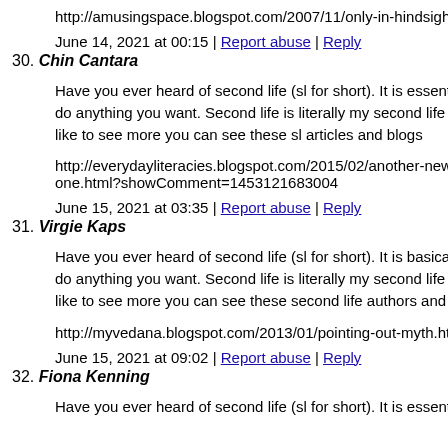http://amusingspace.blogspot.com/2007/11/only-in-hindsight.h
June 14, 2021 at 00:15 | Report abuse | Reply
30. Chin Cantara
Have you ever heard of second life (sl for short). It is essential
do anything you want. Second life is literally my second life (p
like to see more you can see these sl articles and blogs
http://everydayliteracies.blogspot.com/2015/02/another-new-b
one.html?showComment=1453121683004
June 15, 2021 at 03:35 | Report abuse | Reply
31. Virgie Kaps
Have you ever heard of second life (sl for short). It is basically
do anything you want. Second life is literally my second life (p
like to see more you can see these second life authors and blog
http://myvedana.blogspot.com/2013/01/pointing-out-myth.htm
June 15, 2021 at 09:02 | Report abuse | Reply
32. Fiona Kenning
Have you ever heard of second life (sl for short). It is essential